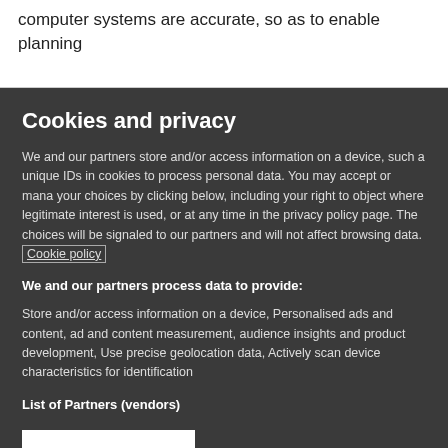computer systems are accurate, so as to enable planning
Cookies and privacy
We and our partners store and/or access information on a device, such as unique IDs in cookies to process personal data. You may accept or manage your choices by clicking below, including your right to object where legitimate interest is used, or at any time in the privacy policy page. These choices will be signaled to our partners and will not affect browsing data. Cookie policy
We and our partners process data to provide:
Store and/or access information on a device, Personalised ads and content, ad and content measurement, audience insights and product development, Use precise geolocation data, Actively scan device characteristics for identification
List of Partners (vendors)
I Accept